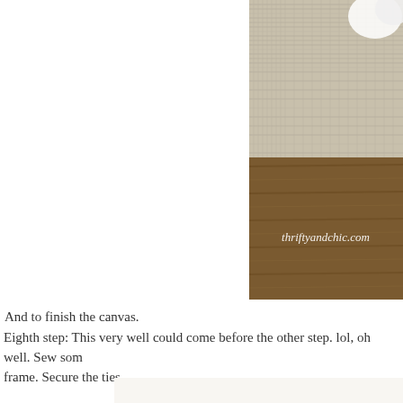[Figure (photo): Close-up photo of burlap fabric and white plastic cups/containers on a wooden surface, with thriftyandchic.com watermark]
And to finish the canvas.
Eighth step: This very well could come before the other step. lol, oh well. Sew som frame. Secure the ties.
[Figure (photo): Photo of a wooden slatted frame with white canvas/fabric draped over it, showing ties and construction details]